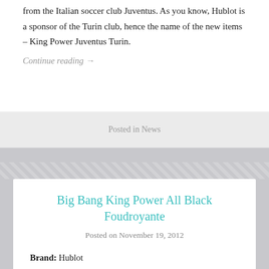from the Italian soccer club Juventus. As you know, Hublot is a sponsor of the Turin club, hence the name of the new items – King Power Juventus Turin.
Continue reading →
Posted in News
Big Bang King Power All Black Foudroyante
Posted on November 19, 2012
Brand: Hublot
Model: Big Bang King Power All Black Foudroyante